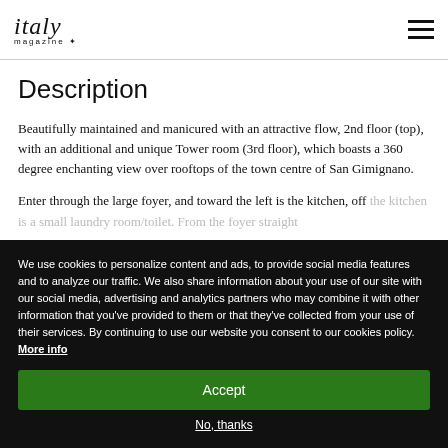italy magazine
Description
Beautifully maintained and manicured with an attractive flow, 2nd floor (top), with an additional and unique Tower room (3rd floor), which boasts a 360 degree enchanting view over rooftops of the town centre of San Gimignano.
Enter through the large foyer, and toward the left is the kitchen, off the kitchen is a small laundry room/toilet. From the foyer straight
We use cookies to personalize content and ads, to provide social media features and to analyze our traffic. We also share information about your use of our site with our social media, advertising and analytics partners who may combine it with other information that you've provided to them or that they've collected from your use of their services. By continuing to use our website you consent to our cookies policy. More info
Accept
No, thanks